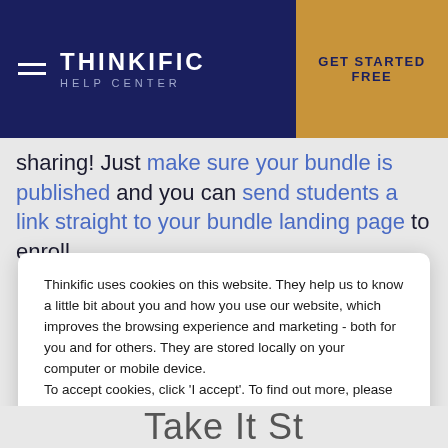THINKIFIC HELP CENTER | GET STARTED FREE
sharing! Just make sure your bundle is published and you can send students a link straight to your bundle landing page to enroll.
Thinkific uses cookies on this website. They help us to know a little bit about you and how you use our website, which improves the browsing experience and marketing - both for you and for others. They are stored locally on your computer or mobile device. To accept cookies, click 'I accept'. To find out more, please read our Cookie Policy
I ACCEPT
Take It St